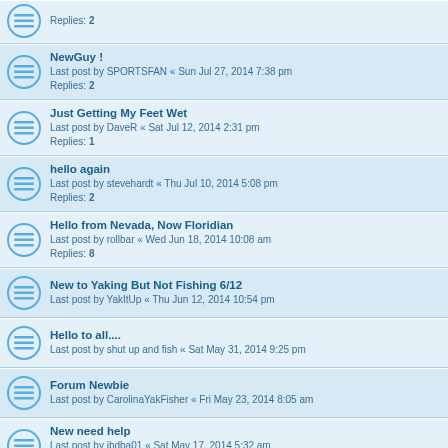Replies: 2
NewGuy ! — Last post by SPORTSFAN « Sun Jul 27, 2014 7:38 pm — Replies: 2
Just Getting My Feet Wet — Last post by DaveR « Sat Jul 12, 2014 2:31 pm — Replies: 1
hello again — Last post by stevehardt « Thu Jul 10, 2014 5:08 pm — Replies: 2
Hello from Nevada, Now Floridian — Last post by rollbar « Wed Jun 18, 2014 10:08 am — Replies: 8
New to Yaking But Not Fishing 6/12 — Last post by YakItUp « Thu Jun 12, 2014 10:54 pm
Hello to all.... — Last post by shut up and fish « Sat May 31, 2014 9:25 pm
Forum Newbie — Last post by CarolinaYakFisher « Fri May 23, 2014 8:05 am
New need help — Last post by jbdba01 « Sat May 17, 2014 5:32 am — Replies: 3
New with canoe — Last post by DaveR « Thu May 15, 2014 3:32 pm — Replies: 4
Hello :)